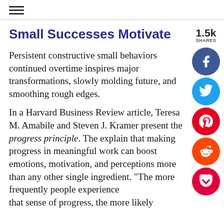☰
Small Successes Motivate
Persistent constructive small behaviors continued overtime inspires major transformations, slowly molding future, and smoothing rough edges.
In a Harvard Business Review article, Teresa M. Amabile and Steven J. Kramer present the progress principle. The explain that making progress in meaningful work can boost emotions, motivation, and perceptions more than any other single ingredient. "The more frequently people experience that sense of progress, the more likely
1.5k SHARES